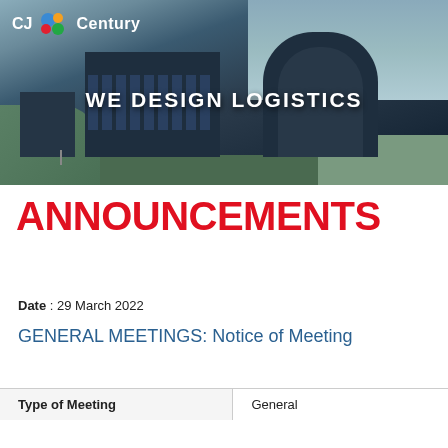[Figure (photo): Aerial view of CJ Century logistics building complex with curved modern architecture and surrounding roads/greenery. CJ Century logo and 'WE DESIGN LOGISTICS' tagline overlaid on the photo.]
ANNOUNCEMENTS
Date : 29 March 2022
GENERAL MEETINGS: Notice of Meeting
| Type of Meeting |  |
| --- | --- |
| Type of Meeting | General |